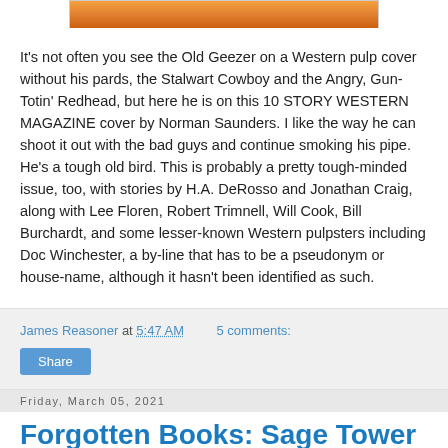[Figure (photo): Partial view of a Western pulp magazine cover showing colorful illustration, cropped at top of page]
It's not often you see the Old Geezer on a Western pulp cover without his pards, the Stalwart Cowboy and the Angry, Gun-Totin' Redhead, but here he is on this 10 STORY WESTERN MAGAZINE cover by Norman Saunders. I like the way he can shoot it out with the bad guys and continue smoking his pipe. He's a tough old bird. This is probably a pretty tough-minded issue, too, with stories by H.A. DeRosso and Jonathan Craig, along with Lee Floren, Robert Trimnell, Will Cook, Bill Burchardt, and some lesser-known Western pulpsters including Doc Winchester, a by-line that has to be a pseudonym or house-name, although it hasn't been identified as such.
James Reasoner at 5:47 AM    5 comments:
Share
Friday, March 05, 2021
Forgotten Books: Sage Tower - Dean Owen (Dudley Dean McGaughy)